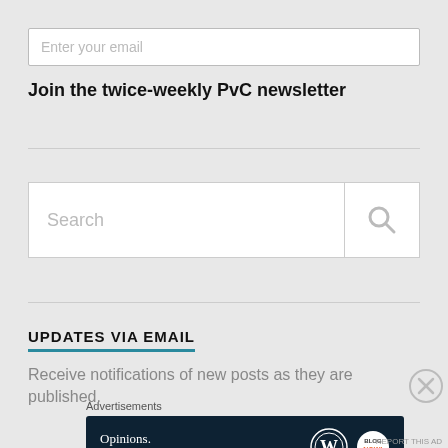Enter your email
Join the twice-weekly PvC newsletter
[Figure (screenshot): Search input box with placeholder text 'Search' and a magnifying glass icon on the right]
UPDATES VIA EMAIL
Receive notifications of new posts as they are published.
Advertisements
[Figure (screenshot): Dark blue advertisement banner reading 'Opinions. We all have them!' with WordPress logo and another circular logo on the right]